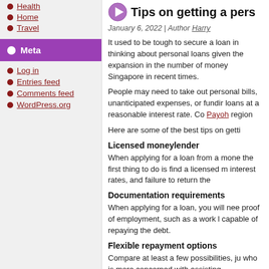Health
Home
Travel
Meta
Log in
Entries feed
Comments feed
WordPress.org
Tips on getting a pers
January 6, 2022 | Author Harry
It used to be tough to secure a loan in thinking about personal loans given the expansion in the number of money Singapore in recent times.
People may need to take out personal bills, unanticipated expenses, or funding loans at a reasonable interest rate. Co Payoh region
Here are some of the best tips on getti
Licensed moneylender
When applying for a loan from a mone the first thing to do is find a licensed m interest rates, and failure to return the
Documentation requirements
When applying for a loan, you will nee proof of employment, such as a work l capable of repaying the debt.
Flexible repayment options
Compare at least a few possibilities, ju who is more concerned with assisting moneylender should provide you with a avoiding debt accumulation.
High credit...